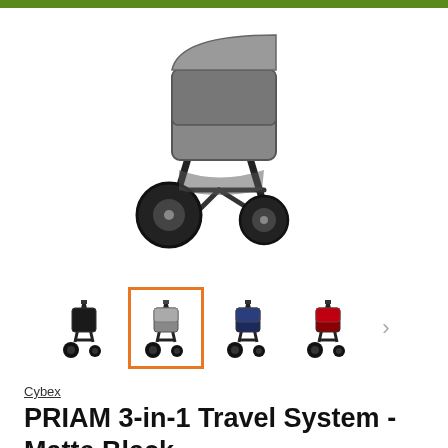[Figure (photo): Large main product photo of a Cybex PRIAM stroller (Matte Black/grey seat) viewed from front-right angle, showing the frame and large black wheels, on white background.]
[Figure (photo): Row of four stroller thumbnail images: (1) all-black stroller, (2) grey/black stroller (selected, highlighted with orange border), (3) navy/black stroller, (4) red/black stroller. A right-arrow navigation chevron appears to the right.]
Cybex
PRIAM 3-in-1 Travel System - Matte Black